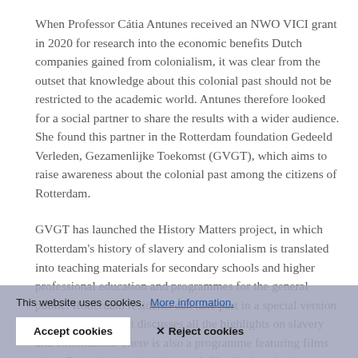When Professor Cátia Antunes received an NWO VICI grant in 2020 for research into the economic benefits Dutch companies gained from colonialism, it was clear from the outset that knowledge about this colonial past should not be restricted to the academic world. Antunes therefore looked for a social partner to share the results with a wider audience. She found this partner in the Rotterdam foundation Gedeeld Verleden, Gezamenlijke Toekomst (GVGT), which aims to raise awareness about the colonial past among the citizens of Rotterdam.
GVGT has launched the History Matters project, in which Rotterdam's history of slavery and colonialism is translated into teaching materials for secondary schools and higher professional education and programmes for the general public. Rotterdam residents can take part in a special version of the [text continues, partially obscured by cookie banner]
This website uses cookies. More information.
Accept cookies   ✕ Reject cookies